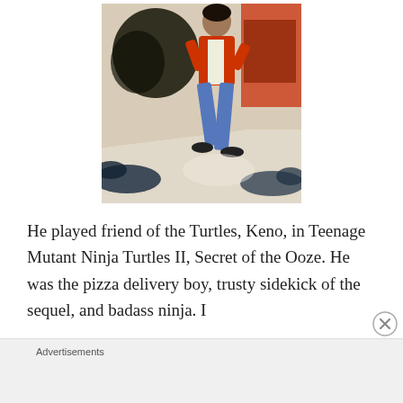[Figure (photo): A young man in a red/orange jacket and jeans in a fighting stance, with people on the floor around him, in an indoor setting.]
He played friend of the Turtles, Keno, in Teenage Mutant Ninja Turtles II, Secret of the Ooze. He was the pizza delivery boy, trusty sidekick of the sequel, and badass ninja. I
Advertisements